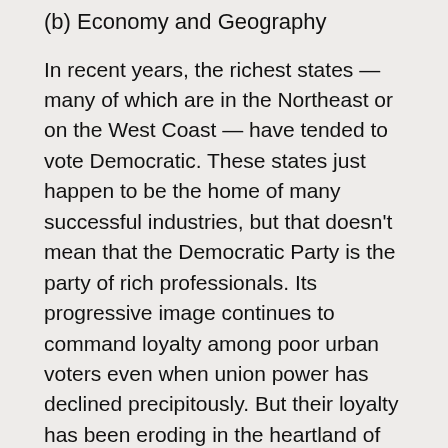(b) Economy and Geography
In recent years, the richest states — many of which are in the Northeast or on the West Coast — have tended to vote Democratic. These states just happen to be the home of many successful industries, but that doesn't mean that the Democratic Party is the party of rich professionals. Its progressive image continues to command loyalty among poor urban voters even when union power has declined precipitously. But their loyalty has been eroding in the heartland of America, especially in places where economic stagnation has been prolonged.
These are areas in dire need of public investment in schools and infrastructure, and they have been neglected since the 1970s. Since John Kennedy, the